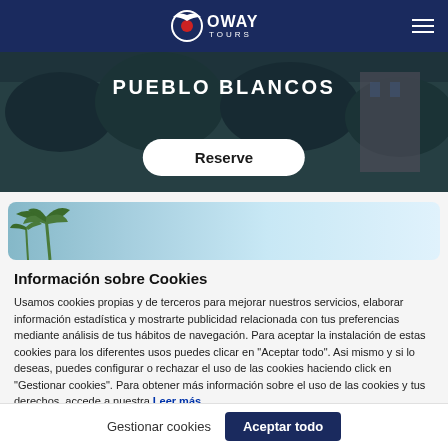[Figure (screenshot): Oway Tours navigation bar with logo and hamburger menu on dark blue background]
[Figure (screenshot): Hero section with 'PUEBLO BLANCOS' title over green/dark landscape background and white 'Reserve' button]
[Figure (photo): Card/banner section with palm tree silhouette against light blue gradient sky]
Información sobre Cookies
Usamos cookies propias y de terceros para mejorar nuestros servicios, elaborar información estadística y mostrarte publicidad relacionada con tus preferencias mediante análisis de tus hábitos de navegación. Para aceptar la instalación de estas cookies para los diferentes usos puedes clicar en "Aceptar todo". Asi mismo y si lo deseas, puedes configurar o rechazar el uso de las cookies haciendo click en "Gestionar cookies". Para obtener más información sobre el uso de las cookies y tus derechos, accede a nuestra Leer más
Gestionar cookies    Aceptar todo